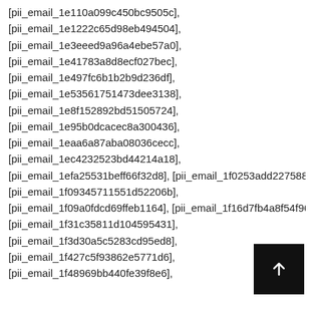[pii_email_1e110a099c450bc9505c],
[pii_email_1e1222c65d98eb494504],
[pii_email_1e3eeed9a96a4ebe57a0],
[pii_email_1e41783a8d8ecf027bec],
[pii_email_1e497fc6b1b2b9d236df],
[pii_email_1e53561751473dee3138],
[pii_email_1e8f152892bd51505724],
[pii_email_1e95b0dcacec8a300436],
[pii_email_1eaa6a87aba08036cecc],
[pii_email_1ec4232523bd44214a18],
[pii_email_1efa25531beff66f32d8], [pii_email_1f0253add227588633
[pii_email_1f09345711551d52206b],
[pii_email_1f09a0fdcd69ffeb1164], [pii_email_1f16d7fb4a8f54f960f5
[pii_email_1f31c35811d104595431],
[pii_email_1f3d30a5c5283cd95ed8],
[pii_email_1f427c5f93862e5771d6],
[pii_email_1f48969bb440fe39f8e6],